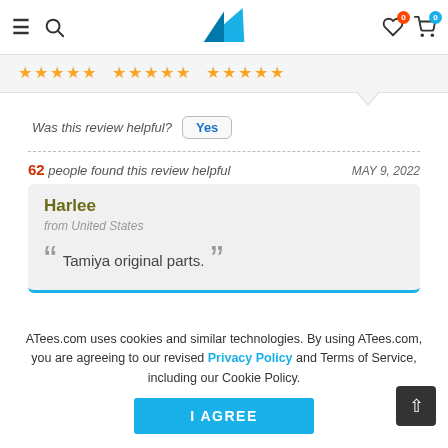ATees.com navigation header with hamburger menu, search icon, logo, wishlist (0), cart (0)
[Figure (other): Three groups of 5 gold star ratings]
Was this review helpful? Yes
62 people found this review helpful   MAY 9, 2022
Harlee
from United States
“Tamiya original parts.”
ATees.com uses cookies and similar technologies. By using ATees.com, you are agreeing to our revised Privacy Policy and Terms of Service, including our Cookie Policy.
I AGREE